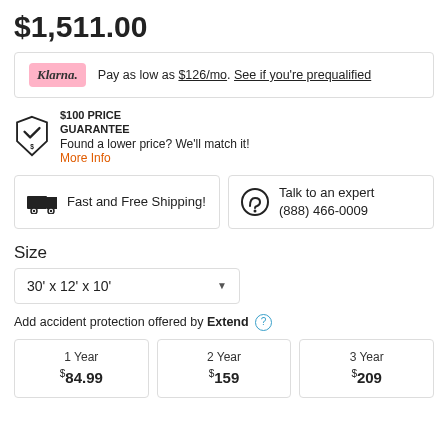$1,511.00
Klarna. Pay as low as $126/mo. See if you're prequalified
$100 PRICE GUARANTEE Found a lower price? We'll match it! More Info
Fast and Free Shipping!
Talk to an expert (888) 466-0009
Size
30' x 12' x 10'
Add accident protection offered by Extend
1 Year $84.99
2 Year $159
3 Year $209